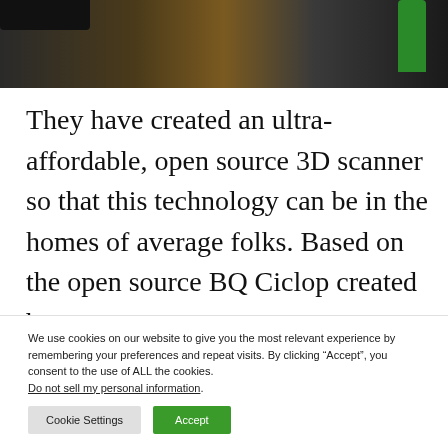[Figure (photo): Photograph of electronic devices on a dark floor, with a green cylindrical object visible on the right side. Dark indoor scene with warm reflective floor.]
They have created an ultra-affordable, open source 3D scanner so that this technology can be in the homes of average folks. Based on the open source BQ Ciclop created by
We use cookies on our website to give you the most relevant experience by remembering your preferences and repeat visits. By clicking “Accept”, you consent to the use of ALL the cookies. Do not sell my personal information.
Cookie Settings  Accept